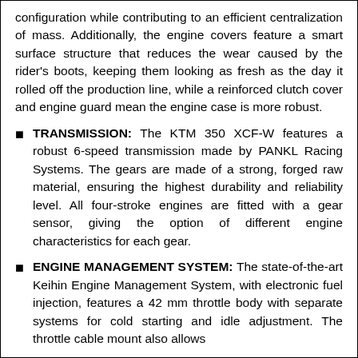configuration while contributing to an efficient centralization of mass. Additionally, the engine covers feature a smart surface structure that reduces the wear caused by the rider's boots, keeping them looking as fresh as the day it rolled off the production line, while a reinforced clutch cover and engine guard mean the engine case is more robust.
TRANSMISSION: The KTM 350 XCF-W features a robust 6-speed transmission made by PANKL Racing Systems. The gears are made of a strong, forged raw material, ensuring the highest durability and reliability level. All four-stroke engines are fitted with a gear sensor, giving the option of different engine characteristics for each gear.
ENGINE MANAGEMENT SYSTEM: The state-of-the-art Keihin Engine Management System, with electronic fuel injection, features a 42 mm throttle body with separate systems for cold starting and idle adjustment. The throttle cable mount also allows for easy...